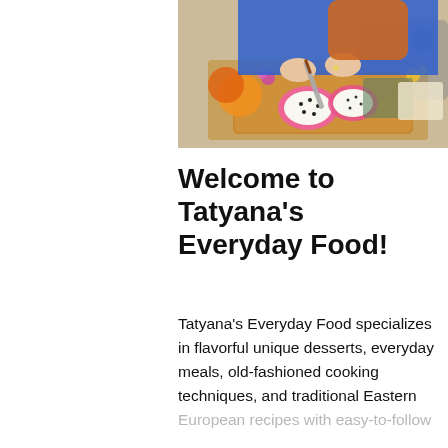[Figure (photo): A woman in a blue top cutting a dragon fruit on a wooden cutting board, with other fruits and flowers visible in the background of a kitchen setting.]
Welcome to Tatyana’s Everyday Food!
Tatyana’s Everyday Food specializes in flavorful unique desserts, everyday meals, old-fashioned cooking techniques, and traditional Eastern European recipes with easy-to-follow